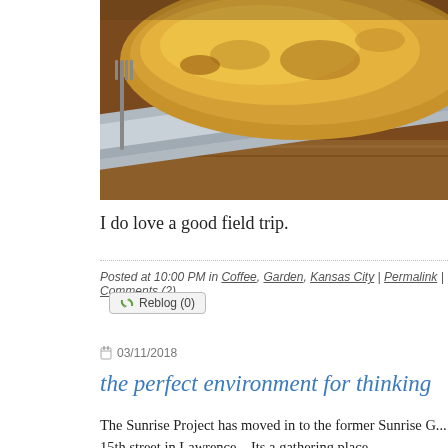[Figure (photo): Close-up photo of baked/grilled food on a metal tray, showing golden-brown cheesy or breaded surface, partially visible fork on left, wooden surface below.]
I do love a good field trip.
Posted at 10:00 PM in Coffee, Garden, Kansas City | Permalink | Comments (2)
Reblog (0)
03/11/2018
the perfect environment for thinking
The Sunrise Project has moved in to the former Sunrise G... 15th street in Lawrence.   Its a gathering place.